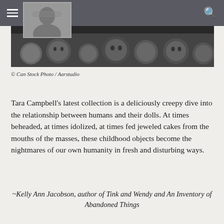[Figure (photo): Black and white photo of doll heads/faces clustered together]
© Can Stock Photo / Aarstudio
Tara Campbell's latest collection is a deliciously creepy dive into the relationship between humans and their dolls. At times beheaded, at times idolized, at times fed jeweled cakes from the mouths of the masses, these childhood objects become the nightmares of our own humanity in fresh and disturbing ways.
~Kelly Ann Jacobson, author of Tink and Wendy and An Inventory of Abandoned Things